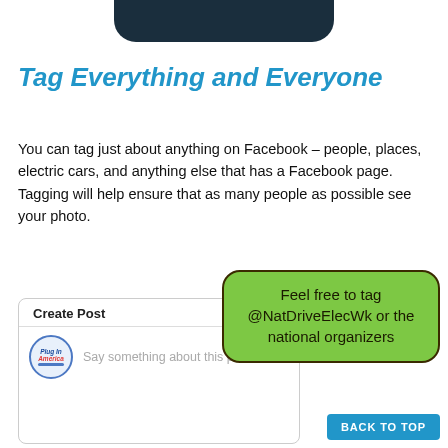[Figure (screenshot): Top portion of a dark rounded phone/UI element at the top of the page]
Tag Everything and Everyone
You can tag just about anything on Facebook – people, places, electric cars, and anything else that has a Facebook page. Tagging will help ensure that as many people as possible see your photo.
[Figure (screenshot): Facebook Create Post dialog showing Plug In America logo and placeholder text 'Say something about this photo...']
Feel free to tag @NatDriveElecWk or the national organizers
BACK TO TOP